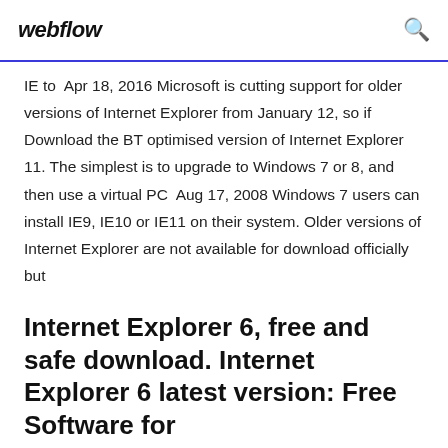webflow
IE to  Apr 18, 2016 Microsoft is cutting support for older versions of Internet Explorer from January 12, so if Download the BT optimised version of Internet Explorer 11. The simplest is to upgrade to Windows 7 or 8, and then use a virtual PC  Aug 17, 2008 Windows 7 users can install IE9, IE10 or IE11 on their system. Older versions of Internet Explorer are not available for download officially but
Internet Explorer 6, free and safe download. Internet Explorer 6 latest version: Free Software for